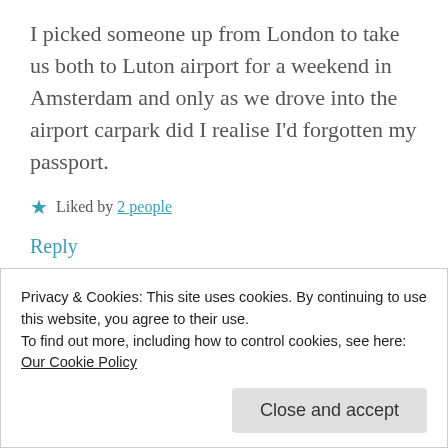I picked someone up from London to take us both to Luton airport for a weekend in Amsterdam and only as we drove into the airport carpark did I realise I'd forgotten my passport.
★ Liked by 2 people
Reply
Privacy & Cookies: This site uses cookies. By continuing to use this website, you agree to their use.
To find out more, including how to control cookies, see here:
Our Cookie Policy
Close and accept
having been awake all night prepared,